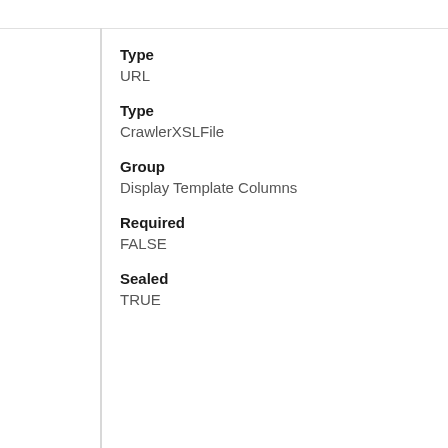Type
URL
Type
CrawlerXSLFile
Group
Display Template Columns
Required
FALSE
Sealed
TRUE